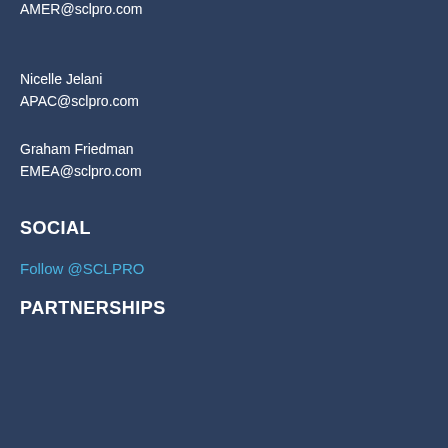AMER@sclpro.com
Nicelle Jelani
APAC@sclpro.com
Graham Friedman
EMEA@sclpro.com
SOCIAL
Follow @SCLPRO
PARTNERSHIPS